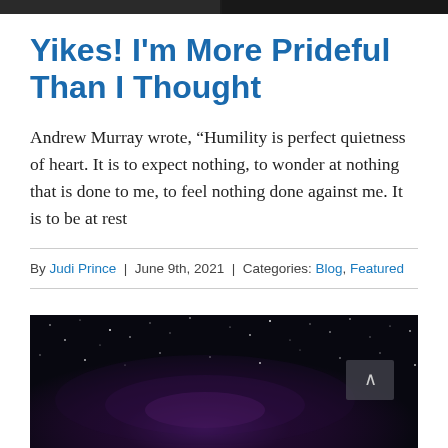[Figure (photo): Dark top image strip, partial photo of people or scene cropped to thin bar]
Yikes! I’m More Prideful Than I Thought
Andrew Murray wrote, “Humility is perfect quietness of heart. It is to expect nothing, to wonder at nothing that is done to me, to feel nothing done against me. It is to be at rest
By Judi Prince | June 9th, 2021 | Categories: Blog, Featured
[Figure (photo): Night sky photograph showing the Milky Way galaxy with purple/violet hues against dark starry background]